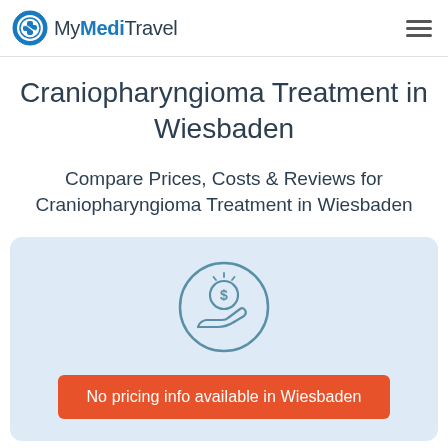MyMediTravel
Craniopharyngioma Treatment in Wiesbaden
Compare Prices, Costs & Reviews for Craniopharyngioma Treatment in Wiesbaden
[Figure (illustration): Coin/money on hand icon inside a circle, representing pricing]
No pricing info available in Wiesbaden